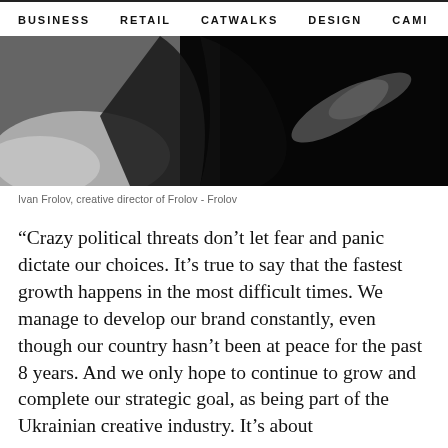BUSINESS   RETAIL   CATWALKS   DESIGN   CAMI  >
[Figure (photo): Black and white close-up photo of Ivan Frolov, creative director of Frolov - Frolov, showing arms/hands against a dark background]
Ivan Frolov, creative director of Frolov - Frolov
“Crazy political threats don’t let fear and panic dictate our choices. It’s true to say that the fastest growth happens in the most difficult times. We manage to develop our brand constantly, even though our country hasn’t been at peace for the past 8 years. And we only hope to continue to grow and complete our strategic goal, as being part of the Ukrainian creative industry. It’s about